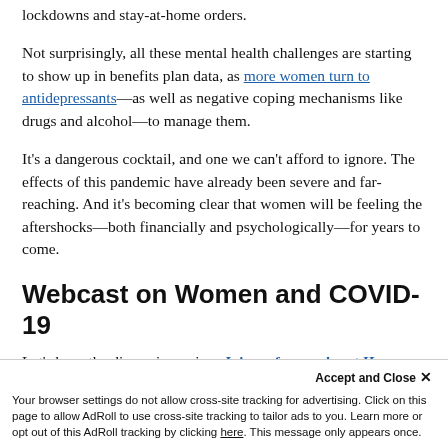lockdowns and stay-at-home orders.
Not surprisingly, all these mental health challenges are starting to show up in benefits plan data, as more women turn to antidepressants—as well as negative coping mechanisms like drugs and alcohol—to manage them.
It's a dangerous cocktail, and one we can't afford to ignore. The effects of this pandemic have already been severe and far-reaching. And it's becoming clear that women will be feeling the aftershocks—both financially and psychologically—for years to come.
Webcast on Women and COVID-19
Let's keep the discussion going. Join us for a webcast How Women Have Been Impacted by COVID-19 on May 27 at 3 p.m. ET to discuss the challenges women are facing during the pandemic. The webcast free to register and open to
Your browser settings do not allow cross-site tracking for advertising. Click on this page to allow AdRoll to use cross-site tracking to tailor ads to you. Learn more or opt out of this AdRoll tracking by clicking here. This message only appears once.